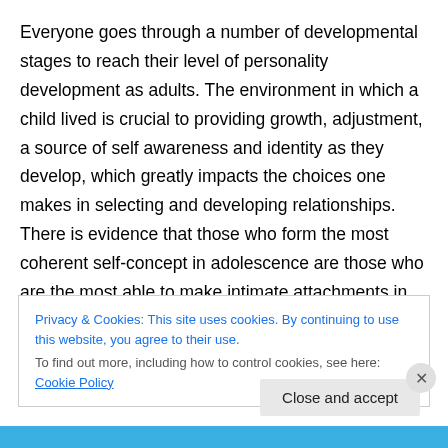Everyone goes through a number of developmental stages to reach their level of personality development as adults. The environment in which a child lived is crucial to providing growth, adjustment, a source of self awareness and identity as they develop, which greatly impacts the choices one makes in selecting and developing relationships. There is evidence that those who form the most coherent self-concept in adolescence are those who are the most able to make intimate attachments in early adulthood. Individuals who have been thwarted in
Privacy & Cookies: This site uses cookies. By continuing to use this website, you agree to their use. To find out more, including how to control cookies, see here: Cookie Policy
Close and accept